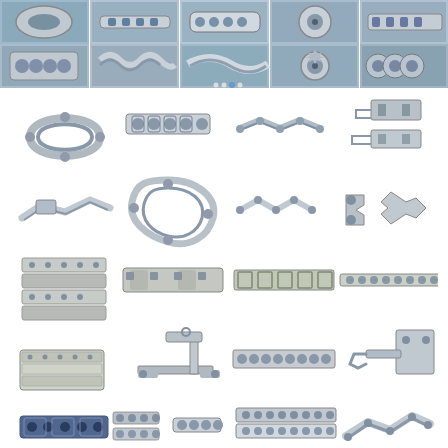[Figure (photo): Banner collage of industrial roller chains, sprockets, and chain components arranged in two rows of five images each, shown against blue and grey backgrounds.]
[Figure (photo): Grid of industrial chain and conveyor components: roller chains, attachment links, conveyor chain links, plate chains, slat top chains, side bow chains, and specialty chain attachments arranged in a 4-column by 5-row catalog layout on white background.]